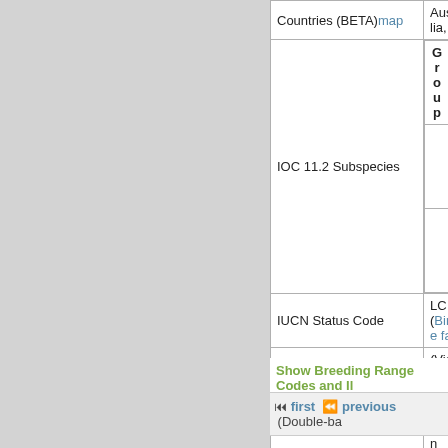| Field | Value |
| --- | --- |
| Countries (BETA) map | Australia, |
| IOC 11.2 Subspecies | Group | Subsp
annulo
bicher |
| IUCN Status Code | LC (Birdlife fa... |
| Described by | (Vigors & Hors... |
| German | Ringelamadin... |
| French | Diamant de Bi... |
| Chinese | □□□□ |
| Japanese | □□□□□□ |
| Russian | Кольчатый ас... |
| Spanish | Diamante de B... |
| Portuguese | mandarim-pál... |
| Bird Data App text |  |
Show Breeding Range Codes and Il...
first  previous  (Double-ba...